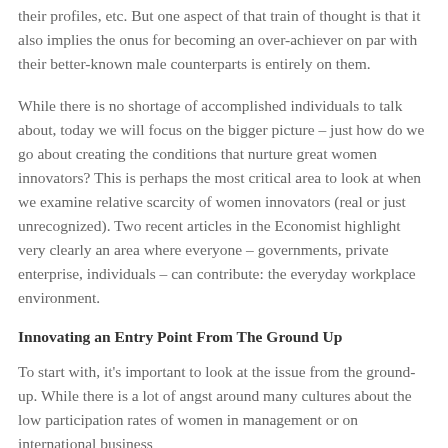their profiles, etc. But one aspect of that train of thought is that it also implies the onus for becoming an over-achiever on par with their better-known male counterparts is entirely on them.
While there is no shortage of accomplished individuals to talk about, today we will focus on the bigger picture – just how do we go about creating the conditions that nurture great women innovators? This is perhaps the most critical area to look at when we examine relative scarcity of women innovators (real or just unrecognized). Two recent articles in the Economist highlight very clearly an area where everyone – governments, private enterprise, individuals – can contribute: the everyday workplace environment.
Innovating an Entry Point From The Ground Up
To start with, it's important to look at the issue from the ground-up. While there is a lot of angst around many cultures about the low participation rates of women in management or on international business